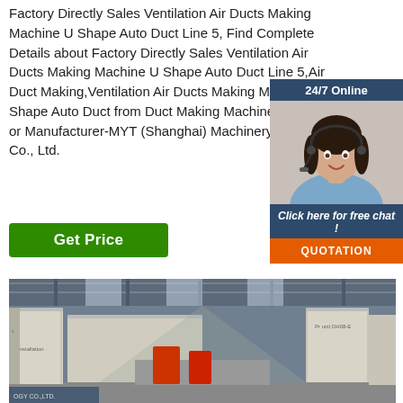Factory Directly Sales Ventilation Air Ducts Making Machine U Shape Auto Duct Line 5, Find Complete Details about Factory Directly Sales Ventilation Air Ducts Making Machine U Shape Auto Duct Line 5,Air Duct Making,Ventilation Air Ducts Making Machine,U Shape Auto Duct from Duct Making Machine Supplier or Manufacturer-MYT (Shanghai) Machinery Equipment Co., Ltd.
[Figure (other): Green 'Get Price' button]
[Figure (other): 24/7 Online chat widget with female agent photo wearing headset, 'Click here for free chat!' text, and orange QUOTATION button]
[Figure (photo): Interior of a large industrial factory/warehouse showing shipping containers and machinery equipment]